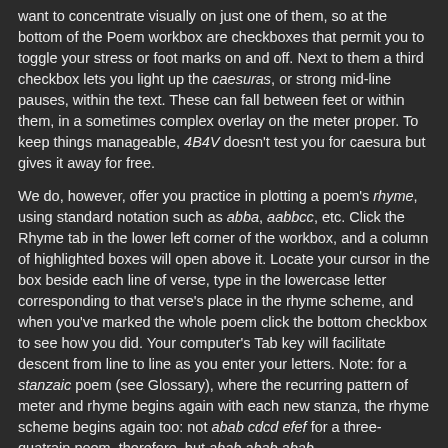want to concentrate visually on just one of them, so at the bottom of the Poem workbox are checkboxes that permit you to toggle your stress or foot marks on and off. Next to them a third checkbox lets you light up the caesuras, or strong mid-line pauses, within the text. These can fall between feet or within them, in a sometimes complex overlay on the meter proper. To keep things manageable, 4B4V doesn't test you for caesura but gives it away for free.
We do, however, offer you practice in plotting a poem's rhyme, using standard notation such as abba, aabbcc, etc. Click the Rhyme tab in the lower left corner of the workbox, and a column of highlighted boxes will open above it. Locate your cursor in the box beside each line of verse, type in the lowercase letter corresponding to that verse's place in the rhyme scheme, and when you've marked the whole poem click the bottom checkbox to see how you did. Your computer's Tab key will facilitate descent from line to line as you enter your letters. Note: for a stanzaic poem (see Glossary), where the recurring pattern of meter and rhyme begins again with each new stanza, the rhyme scheme begins again too: not abab cdcd efef for a three-quatrain poem, therefore, but abab abab abab.
A couple of other features adorn the Poem workbox. Sometimes next to the green check a lightbulb icon will turn on. Clicking this will take you to a note that discusses oddities or beauties of the line in